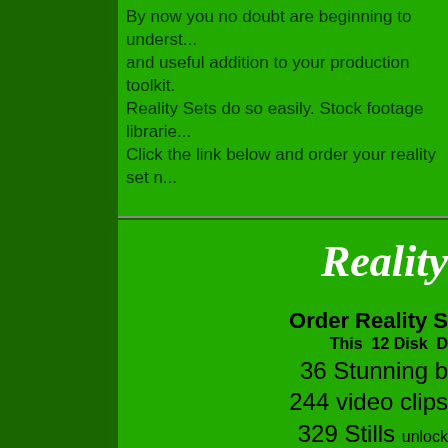By now you no doubt are beginning to understand... and useful addition to your production toolkit. Reality Sets do so easily. Stock footage libraries... Click the link below and order your reality set n...
Reality
Order Reality S
This  12 Disk  D
36 Stunning b
244 video clips
329 Stills unlock
PLUS: Alpha Channels and o
Take advantage
special by ...